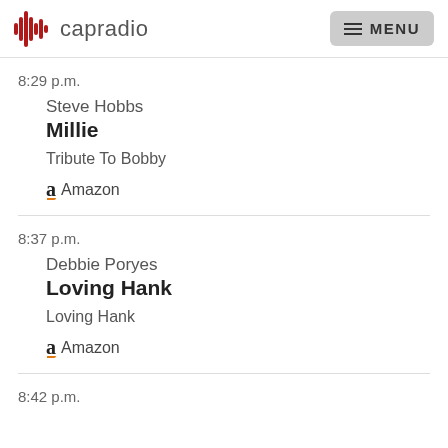capradio  MENU
8:29 p.m.
Steve Hobbs
Millie
Tribute To Bobby
Amazon
8:37 p.m.
Debbie Poryes
Loving Hank
Loving Hank
Amazon
8:42 p.m.